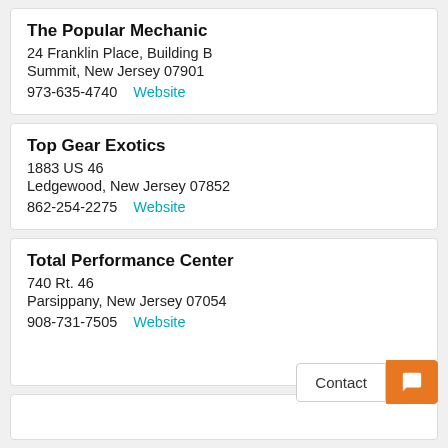The Popular Mechanic
24 Franklin Place, Building B
Summit, New Jersey 07901
973-635-4740   Website
Top Gear Exotics
1883 US 46
Ledgewood, New Jersey 07852
862-254-2275   Website
Total Performance Center
740 Rt. 46
Parsippany, New Jersey 07054
908-731-7505   Website